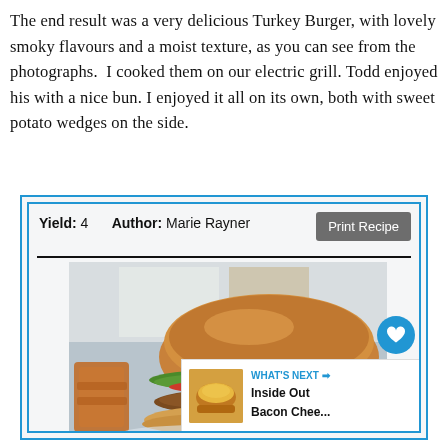The end result was a very delicious Turkey Burger, with lovely smoky flavours and a moist texture, as you can see from the photographs. I cooked them on our electric grill. Todd enjoyed his with a nice bun. I enjoyed it all on its own, both with sweet potato wedges on the side.
[Figure (screenshot): Recipe card widget showing Yield: 4, Author: Marie Rayner, Print Recipe button, a photo of a turkey burger with lettuce, tomato on a bun with sweet potato wedges, heart/like button showing count of 3, share button, and a 'What's Next' panel showing Inside Out Bacon Chee...]